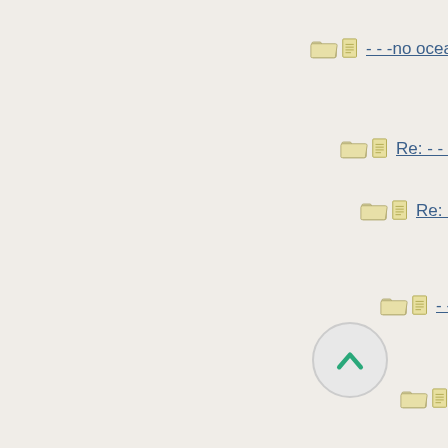- - -no oceans around
Re: - - -no oceans a
Re: - - -no ocean
- - - -list
???
Re: ??? a
- - -wren
fairies
- - -
H